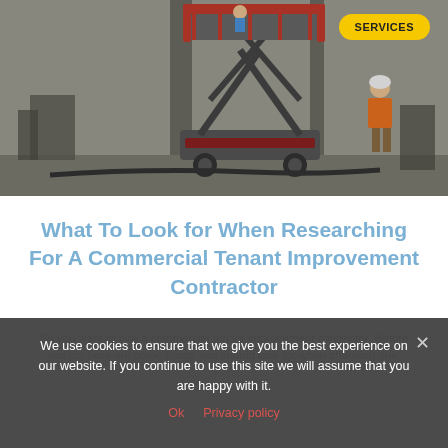[Figure (photo): Construction site photo showing a scissor lift (blue/grey) with workers. A worker in orange vest and white hard hat stands on the right near a concrete wall. Red railing visible at top of lift platform. Industrial interior setting.]
What To Look for When Researching For A Commercial Tenant Improvement Contractor
So you want to hire a commercial tenant improvement contractor. Before you do, here are some things you should look for when choosing one.
We use cookies to ensure that we give you the best experience on our website. If you continue to use this site we will assume that you are happy with it.
Ok   Privacy policy